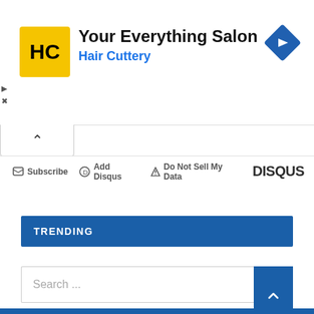[Figure (logo): Hair Cuttery advertisement banner with HC logo on yellow background, text 'Your Everything Salon' and 'Hair Cuttery' in blue, navigation arrow icon on right]
Subscribe  Add Disqus  Do Not Sell My Data  DISQUS
TRENDING
Search ...